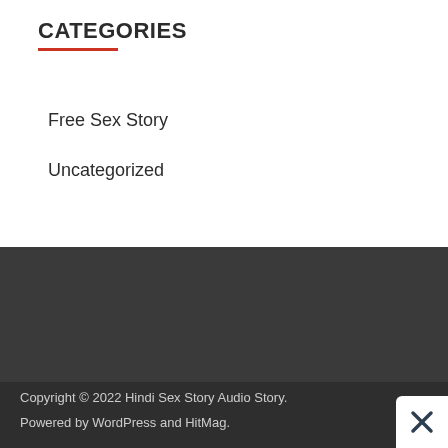CATEGORIES
Free Sex Story
Uncategorized
Copyright © 2022 Hindi Sex Story Audio Story.
Powered by WordPress and HitMag.